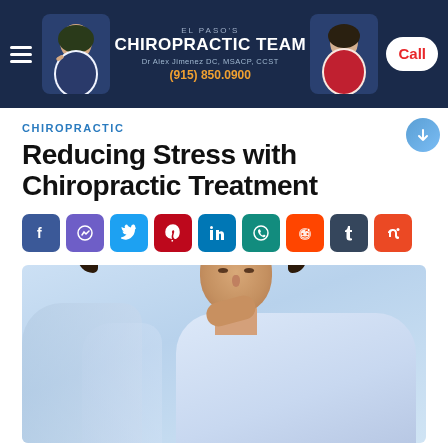El Paso's Chiropractic Team | Dr Alex Jimenez DC, MSACP, CCST | (915) 850.0900
CHIROPRACTIC
Reducing Stress with Chiropractic Treatment
[Figure (infographic): Row of social media share icons: Facebook, Messenger, Twitter, Pinterest, LinkedIn, WhatsApp, Reddit, Tumblr, StumbleUpon]
[Figure (photo): A man in a blue striped shirt looking downward thoughtfully with hand near chin, blurred office background]